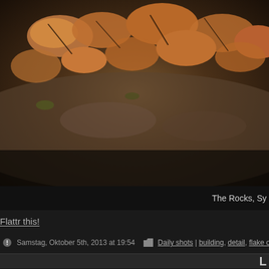[Figure (photo): Close-up photo of cracked, flaking brown/orange material (peeling paint or dried mud) on a rocky surface at The Rocks, Sydney]
The Rocks, Sy
Flattr this!
Samstag, Oktober 5th, 2013 at 19:54  |  Daily shots | building, detail, flake off, old, paint,
L